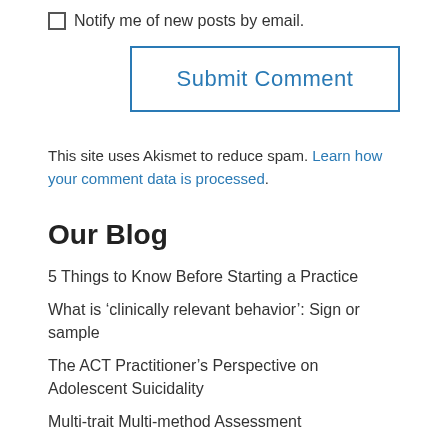Notify me of new posts by email.
Submit Comment
This site uses Akismet to reduce spam. Learn how your comment data is processed.
Our Blog
5 Things to Know Before Starting a Practice
What is ‘clinically relevant behavior’: Sign or sample
The ACT Practitioner’s Perspective on Adolescent Suicidality
Multi-trait Multi-method Assessment
The Four-Term Contingency